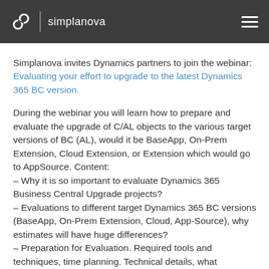simplanova
Simplanova invites Dynamics partners to join the webinar: Evaluating your effort to upgrade to the latest Dynamics 365 BC version.
During the webinar you will learn how to prepare and evaluate the upgrade of C/AL objects to the various target versions of BC (AL), would it be BaseApp, On-Prem Extension, Cloud Extension, or Extension which would go to AppSource. Content: – Why it is so important to evaluate Dynamics 365 Business Central Upgrade projects? – Evaluations to different target Dynamics 365 BC versions (BaseApp, On-Prem Extension, Cloud, App-Source), why estimates will have huge differences? – Preparation for Evaluation. Required tools and techniques, time planning. Technical details, what